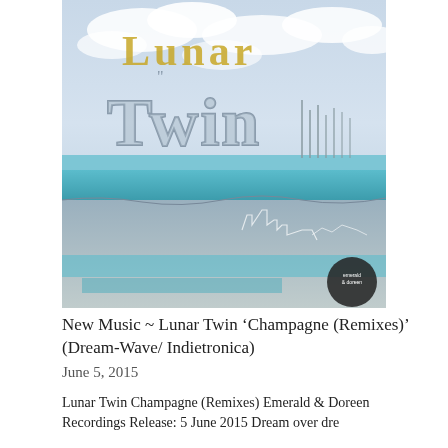[Figure (illustration): Album artwork for Lunar Twin 'Champagne (Remixes)' showing stylized text 'Lunar Twin' in gold and grey letters over a mixed media artistic background featuring a coastal/waterway scene with turquoise water, grey sky with clouds, and reflected landscape imagery. Emerald & Doreen logo visible in bottom right corner.]
New Music ~ Lunar Twin ‘Champagne (Remixes)’ (Dream-Wave/ Indietronica)
June 5, 2015
Lunar Twin Champagne (Remixes) Emerald & Doreen Recordings Release: 5 June 2015 Dream over dre